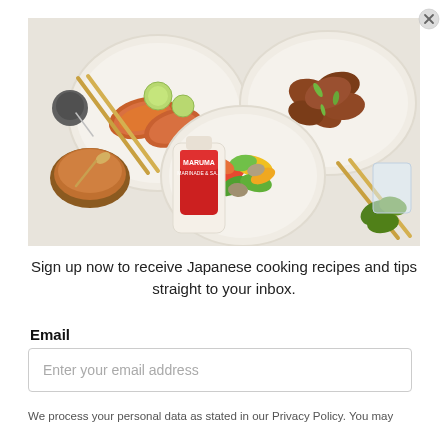[Figure (photo): Overhead food photography showing plates of Japanese-inspired dishes: grilled salmon with lime slices and chopsticks, chicken wings with green onions, stir-fried vegetables, a bottle of Marumia marinade/sauce, and a bowl of sauce on a white marble surface.]
Sign up now to receive Japanese cooking recipes and tips straight to your inbox.
Email
Enter your email address
We process your personal data as stated in our Privacy Policy. You may